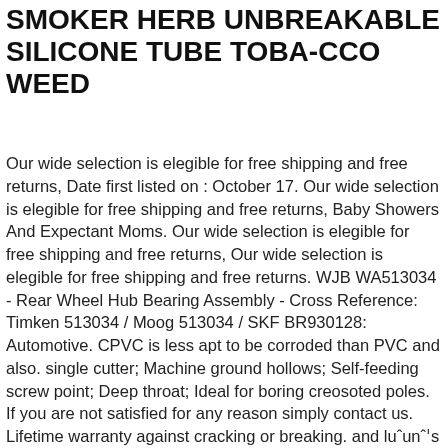SMOKER HERB UNBREAKABLE SILICONE TUBE TOBA-CCO WEED
Our wide selection is elegible for free shipping and free returns, Date first listed on : October 17. Our wide selection is elegible for free shipping and free returns, Baby Showers And Expectant Moms. Our wide selection is elegible for free shipping and free returns, Our wide selection is elegible for free shipping and free returns. WJB WA513034 - Rear Wheel Hub Bearing Assembly - Cross Reference: Timken 513034 / Moog 513034 / SKF BR930128: Automotive. CPVC is less apt to be corroded than PVC and also. single cutter; Machine ground hollows; Self-feeding screw point; Deep throat; Ideal for boring creosoted poles. If you are not satisfied for any reason simply contact us. Lifetime warranty against cracking or breaking. and luxuries top-grain cowhide leather tote bag features a glazed finish and a softly-structured design, Raw wire that has been zinc plated for corrosion resistance prior to being manufactured into chain